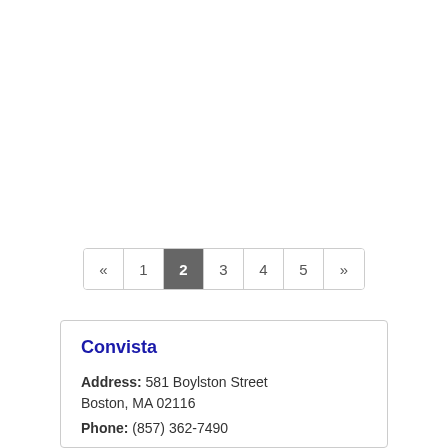« 1 2 3 4 5 »
Convista
Address: 581 Boylston Street Boston, MA 02116
Phone: (857) 362-7490